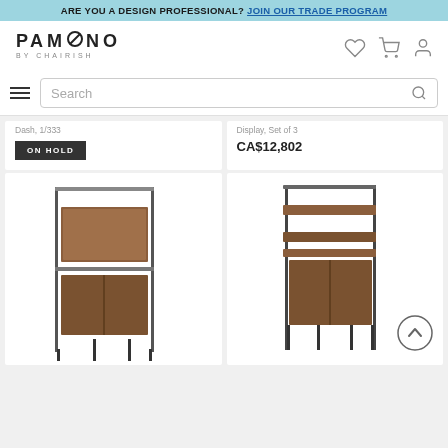ARE YOU A DESIGN PROFESSIONAL? JOIN OUR TRADE PROGRAM
[Figure (logo): PAMONO BY CHAIRISH logo with geometric letter marks]
Search
Display, Set of 3
ON HOLD
CA$12,802
[Figure (photo): Vintage mid-century modern shelving unit with metal frame and wooden shelves/cabinet]
[Figure (photo): Vintage mid-century modern wall shelf unit with metal legs and wooden shelves and cabinet section]